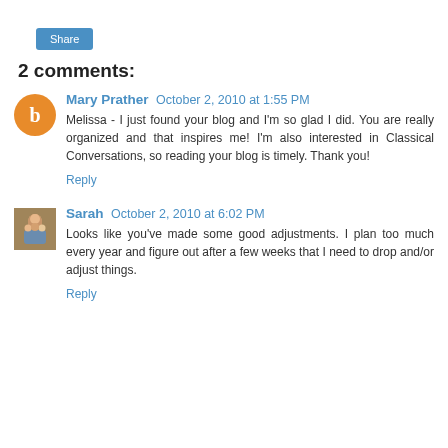[Figure (other): Share button — a blue rounded rectangle with white text 'Share']
2 comments:
Mary Prather  October 2, 2010 at 1:55 PM
Melissa - I just found your blog and I'm so glad I did. You are really organized and that inspires me! I'm also interested in Classical Conversations, so reading your blog is timely. Thank you!
Reply
Sarah  October 2, 2010 at 6:02 PM
Looks like you've made some good adjustments. I plan too much every year and figure out after a few weeks that I need to drop and/or adjust things.
Reply